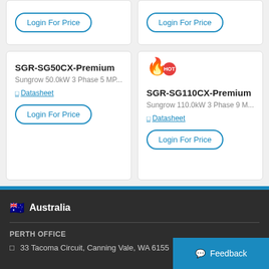[Figure (screenshot): Partial product card with Login For Price button (left)]
[Figure (screenshot): Partial product card with Login For Price button (right)]
SGR-SG50CX-Premium
Sungrow 50.0kW 3 Phase 5 MP...
Datasheet
Login For Price
SGR-SG110CX-Premium
Sungrow 110.0kW 3 Phase 9 M...
Datasheet
Login For Price
Australia
PERTH OFFICE
33 Tacoma Circuit, Canning Vale, WA 6155
Feedback